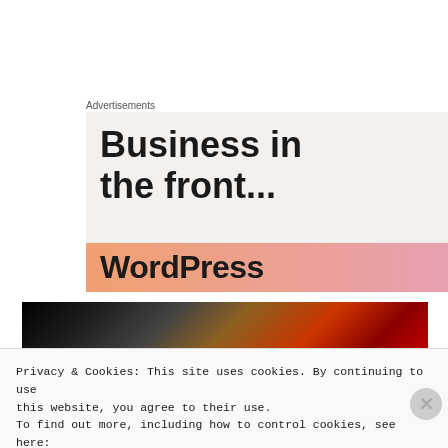Advertisements
[Figure (illustration): Advertisement banner with text 'Business in the front...' on a light beige background, with a gradient orange-pink bar below containing partial WordPress logo text]
[Figure (photo): Dark photo strip showing books or magazines with dark and reddish tones]
Privacy & Cookies: This site uses cookies. By continuing to use this website, you agree to their use.
To find out more, including how to control cookies, see here:
Cookie Policy
Close and accept